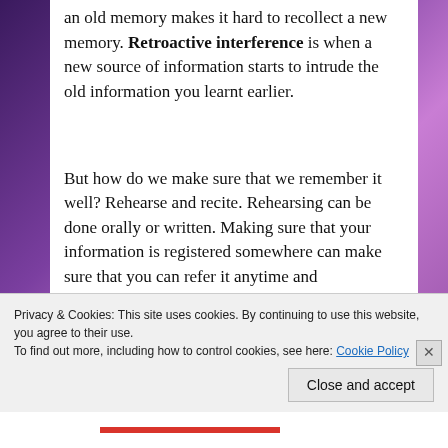an old memory makes it hard to recollect a new memory. Retroactive interference is when a new source of information starts to intrude the old information you learnt earlier.
But how do we make sure that we remember it well? Rehearse and recite. Rehearsing can be done orally or written. Making sure that your information is registered somewhere can make sure that you can refer it anytime and
Privacy & Cookies: This site uses cookies. By continuing to use this website, you agree to their use.
To find out more, including how to control cookies, see here: Cookie Policy
Close and accept